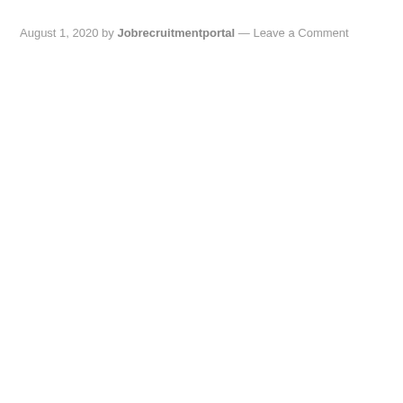August 1, 2020 by Jobrecruitmentportal — Leave a Comment